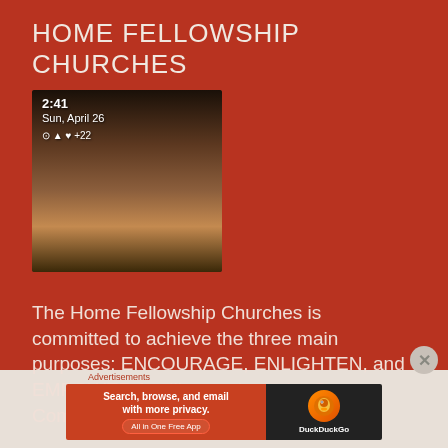HOME FELLOWSHIP CHURCHES
[Figure (photo): Photo of two people, one standing behind the other, with phone status bar showing 2:41, Sun, April 26]
The Home Fellowship Churches is committed to achieve the three main purposes: ENCOURAGE, ENLIGHTEN, and EMPOWER families to share the Great Commission, preach and teach the
Advertisements
[Figure (screenshot): DuckDuckGo advertisement banner: Search, browse, and email with more privacy. All in One Free App]